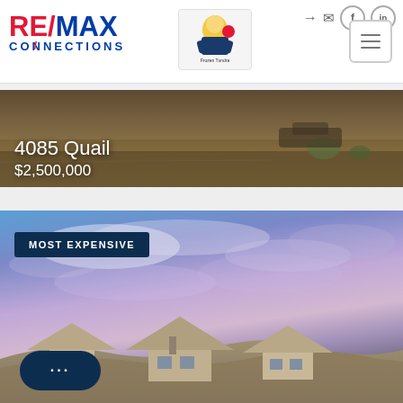[Figure (logo): RE/MAX Connections logo with red and blue text and agent mascot logo]
[Figure (photo): Desert landscape photo with text overlay showing property at 4085 Quail priced at $2,500,000]
4085 Quail
$2,500,000
[Figure (photo): Dramatic sky photo with house rooftops visible at bottom, labeled MOST EXPENSIVE]
MOST EXPENSIVE